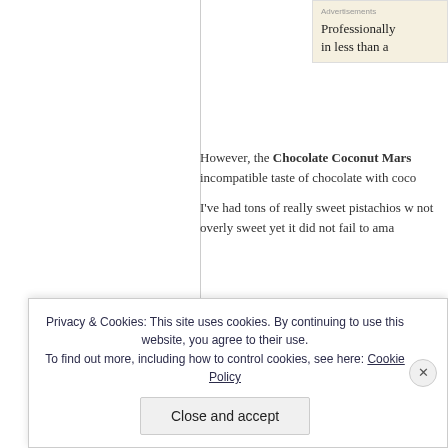Advertisements
Professionally in less than a
However, the Chocolate Coconut Mars incompatible taste of chocolate with coco
I've had tons of really sweet pistachios w not overly sweet yet it did not fail to ama
[Figure (photo): Display case with chocolate-covered pastries and cookies in a bakery]
Privacy & Cookies: This site uses cookies. By continuing to use this website, you agree to their use. To find out more, including how to control cookies, see here: Cookie Policy
Close and accept